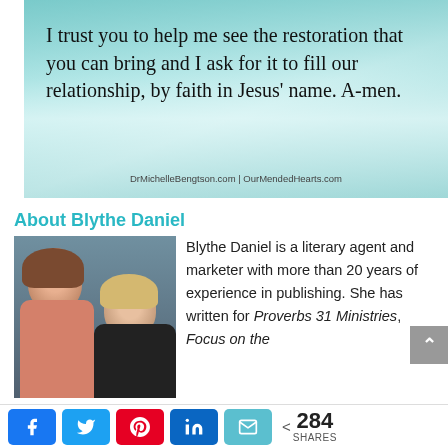[Figure (photo): Inspirational quote image over a teal ocean/water background with text: 'I trust you to help me see the restoration that you can bring and I ask for it to fill our relationship, by faith in Jesus’ name. A-men.' with watermark 'DrMichelleBengtson.com | OurMendedHearts.com']
About Blythe Daniel
[Figure (photo): Photo of two women smiling together, one younger with curly hair in a pink/coral top, one older with blonde hair in a dark top.]
Blythe Daniel is a literary agent and marketer with more than 20 years of experience in publishing. She has written for Proverbs 31 Ministries, Focus on the Family...
Family, Amy Young ... Christian Retailing, and ...